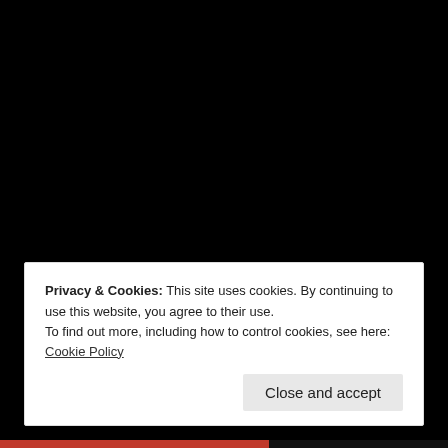Busking
Podcasts
ARCHIVES
April 2022 (1)
September 2021 (14)
August 2021 (12)
June 2021 (1)
Privacy & Cookies: This site uses cookies. By continuing to use this website, you agree to their use.
To find out more, including how to control cookies, see here: Cookie Policy
Close and accept